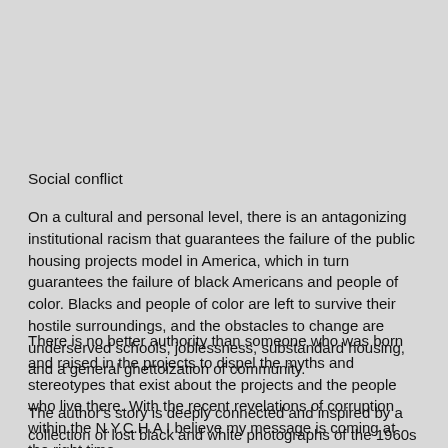Social conflict
On a cultural and personal level, there is an antagonizing institutional racism that guarantees the failure of the public housing projects model in America, which in turn guarantees the failure of black Americans and people of color. Blacks and people of color are left to survive their hostile surroundings, and the obstacles to change are underserved schools, joblessness, substandard housing, and a general ghettoization of community.
There is no better authority than someone who was born and raised in the projects to dispel the myths and stereotypes that exist about the projects and the people who live there. With the recent revelations of corruption within the N.Y.C.H.A I believe my message is coming at the right time.
The author’s story is deeply connected and inspired by a collection of lost black and white photographs of the 1960s Coney Island African American community that one of his best friends took back in the day. The author is working now with the Brooklyn Historical Society to arrange an exhibition